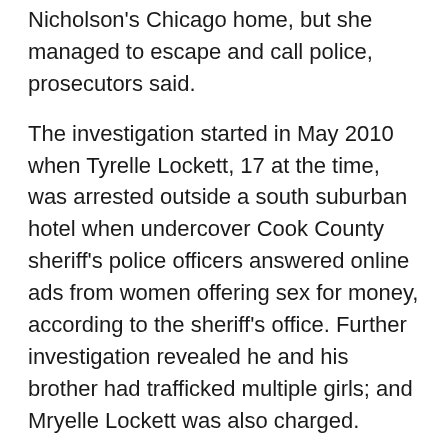Nicholson's Chicago home, but she managed to escape and call police, prosecutors said.
The investigation started in May 2010 when Tyrelle Lockett, 17 at the time, was arrested outside a south suburban hotel when undercover Cook County sheriff's police officers answered online ads from women offering sex for money, according to the sheriff's office. Further investigation revealed he and his brother had trafficked multiple girls; and Mryelle Lockett was also charged.
Nicholson pleaded guilty to one count of sex trafficking of a minor last year, according to prosecutors. U.S. District Judge Joan Humphrey Lefkow sentenced him on Tuesday to 16 years and eight months in federal prison, and ordered him to pay $68,400 to two victims.